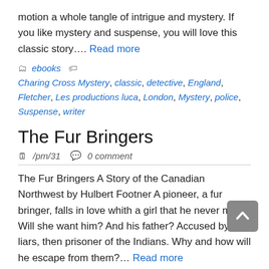motion a whole tangle of intrigue and mystery. If you like mystery and suspense, you will love this classic story…. Read more
ebooks   Charing Cross Mystery, classic, detective, England, Fletcher, Les productions luca, London, Mystery, police, Suspense, writer
The Fur Bringers
/pm/31  0 comment
The Fur Bringers A Story of the Canadian Northwest by Hulbert Footner A pioneer, a fur bringer, falls in love whith a girl that he never met. Will she want him? And his father? Accused by liars, then prisoner of the Indians. Why and how will he escape from them?… Read more
ebooks   Biography, Canadian Northwest, ebooks, fort Enterprise, Hulbert Footner, Hulbert Footner Books, Indian,